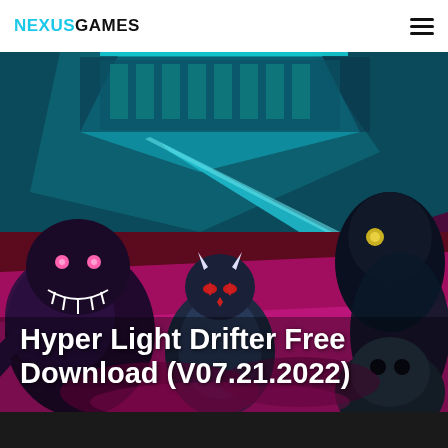NEXUSGAMES
[Figure (illustration): Hyper Light Drifter game cover art showing stylized characters including a protagonist in dark armor with red glowing eyes, surrounded by monsters, with teal/pink/purple neon color scheme and the game logo partially visible at top]
Hyper Light Drifter Free Download (V07.21.2022)